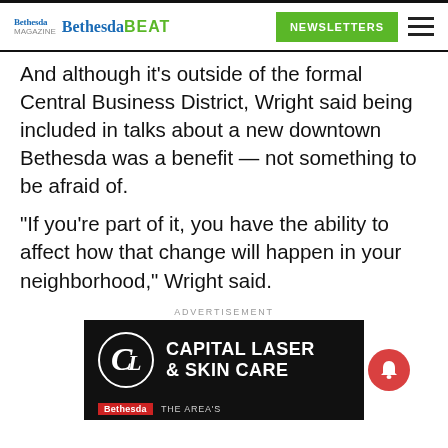Bethesda Bethesda BEAT | NEWSLETTERS
And although it’s outside of the formal Central Business District, Wright said being included in talks about a new downtown Bethesda was a benefit — not something to be afraid of.
“If you’re part of it, you have the ability to affect how that change will happen in your neighborhood,” Wright said.
ADVERTISEMENT
[Figure (logo): Capital Laser & Skin Care advertisement banner with circular logo on black background]